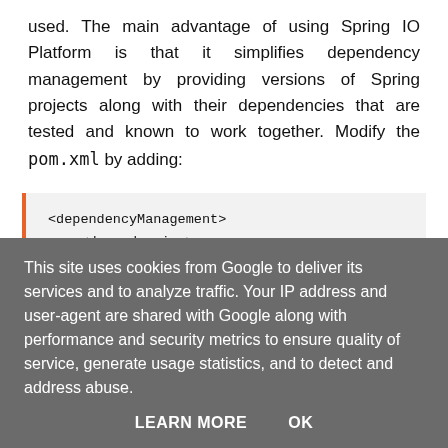used. The main advantage of using Spring IO Platform is that it simplifies dependency management by providing versions of Spring projects along with their dependencies that are tested and known to work together. Modify the pom.xml by adding:
<dependencyManagement>
    <dependencies>
        <dependency>
            <groupId>io.spring.platform</groupId>
            <artifactId>platform-bom</artifactId>
            <version>1.1.1.RELEASE</version>
            <type>pom</type>
            <scope>import</scope>
        </dependency>
This site uses cookies from Google to deliver its services and to analyze traffic. Your IP address and user-agent are shared with Google along with performance and security metrics to ensure quality of service, generate usage statistics, and to detect and address abuse.
LEARN MORE   OK